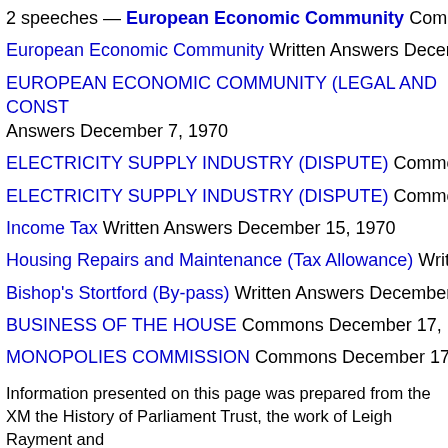2 speeches — European Economic Community Commons [truncated]
European Economic Community Written Answers December 7 [truncated]
EUROPEAN ECONOMIC COMMUNITY (LEGAL AND CONST... Answers December 7, 1970
ELECTRICITY SUPPLY INDUSTRY (DISPUTE) Commons De[truncated]
ELECTRICITY SUPPLY INDUSTRY (DISPUTE) Commons De[truncated]
Income Tax Written Answers December 15, 1970
Housing Repairs and Maintenance (Tax Allowance) Written An[truncated]
Bishop's Stortford (By-pass) Written Answers December 16, 19[truncated]
BUSINESS OF THE HOUSE Commons December 17, 1970
MONOPOLIES COMMISSION Commons December 17, 1970
Information presented on this page was prepared from the XM[truncated] the History of Parliament Trust, the work of Leigh Rayment and[truncated]